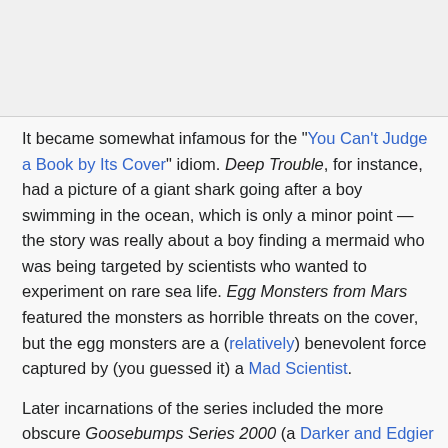It became somewhat infamous for the "You Can't Judge a Book by Its Cover" idiom. Deep Trouble, for instance, had a picture of a giant shark going after a boy swimming in the ocean, which is only a minor point — the story was really about a boy finding a mermaid who was being targeted by scientists who wanted to experiment on rare sea life. Egg Monsters from Mars featured the monsters as horrible threats on the cover, but the egg monsters are a (relatively) benevolent force captured by (you guessed it) a Mad Scientist.
Later incarnations of the series included the more obscure Goosebumps Series 2000 (a Darker and Edgier ...